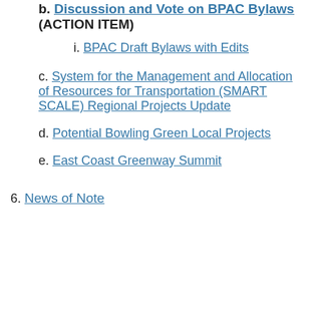b. Discussion and Vote on BPAC Bylaws (ACTION ITEM)
i. BPAC Draft Bylaws with Edits
c. System for the Management and Allocation of Resources for Transportation (SMART SCALE) Regional Projects Update
d. Potential Bowling Green Local Projects
e. East Coast Greenway Summit
6. News of Note